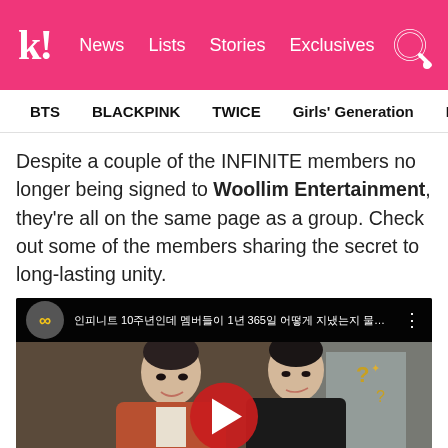k! News Lists Stories Exclusives
BTS  BLACKPINK  TWICE  Girls' Generation  NCT  aespa
Despite a couple of the INFINITE members no longer being signed to Woollim Entertainment, they're all on the same page as a group. Check out some of the members sharing the secret to long-lasting unity.
[Figure (screenshot): YouTube video thumbnail showing two Korean male celebrities (INFINITE members) sitting together. The video title in Korean characters appears at the top on a dark background. A red YouTube play button is centered on the image. Korean text in gold/yellow at the bottom reads '인피니트의 무엇이든 물어보세요인']